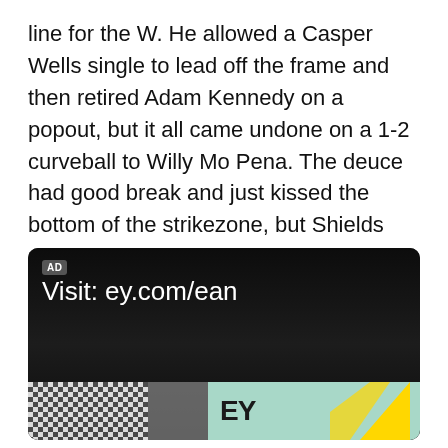line for the W. He allowed a Casper Wells single to lead off the frame and then retired Adam Kennedy on a popout, but it all came undone on a 1-2 curveball to Willy Mo Pena. The deuce had good break and just kissed the bottom of the strikezone, but Shields missed with the pitch in and Willy Mo showed why he's still on a Major League roster by crushing a line drive, murderball to the Captain Morgan deck for a two-run, game-tying homer.
[Figure (photo): Advertisement banner with dark background showing 'Visit: ey.com/ean' text and EY logo at the bottom with checkerboard pattern and teal/green building exterior]